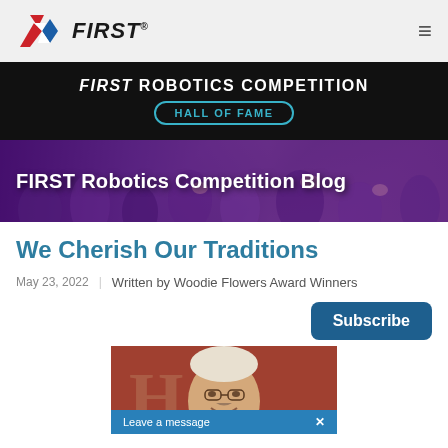FIRST® [logo] [hamburger menu]
FIRST ROBOTICS COMPETITION HALL OF FAME
[Figure (photo): Hero image of excited crowd of young people at a FIRST Robotics Competition event, with purple and blue stage lighting, overlaid with text 'FIRST Robotics Competition Blog']
We Cherish Our Traditions
May 23, 2022  |  Written by Woodie Flowers Award Winners
Subscribe
[Figure (photo): Photo of an older man smiling, appearing to be at an awards ceremony with a red/brown background and large letters visible. A 'Leave a message' bar appears at the bottom of the image.]